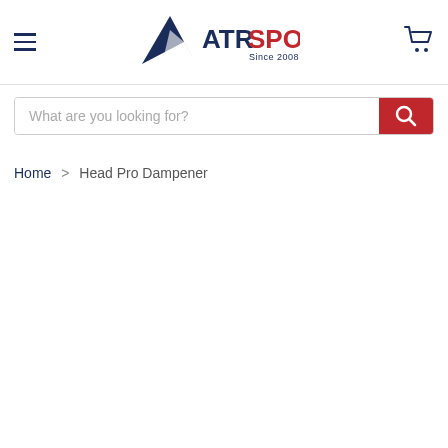[Figure (logo): ATR Sports logo with navy/red mountain peak icon and text 'ATRSPORTS Since 2008']
What are you looking for?
Home > Head Pro Dampener